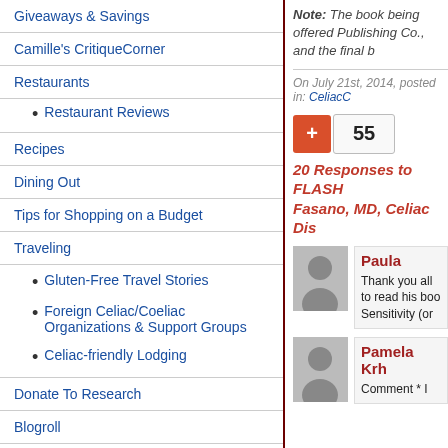Giveaways & Savings
Camille's CritiqueCorner
Restaurants
Restaurant Reviews
Recipes
Dining Out
Tips for Shopping on a Budget
Traveling
Gluten-Free Travel Stories
Foreign Celiac/Coeliac Organizations & Support Groups
Celiac-friendly Lodging
Donate To Research
Blogroll
Note: The book being offered Publishing Co., and the final b
On July 21st, 2014, posted in: CeliacC
55
20 Responses to FLASH Fasano, MD, Celiac Dis
Paula
Thank you all to read his boo Sensitivity (or
Pamela Krh
Comment * I